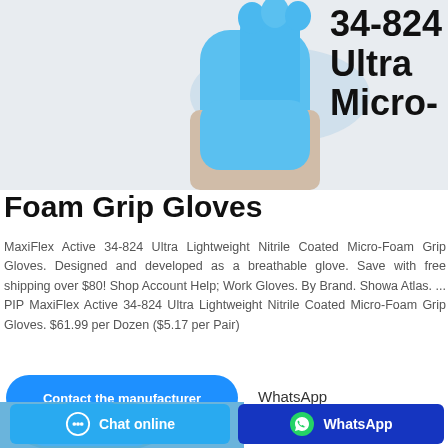[Figure (photo): Person wearing blue nitrile gloves, shown from wrist area, on light grey background]
34-824 Ultra Micro-Foam Grip Gloves
MaxiFlex Active 34-824 Ultra Lightweight Nitrile Coated Micro-Foam Grip Gloves. Designed and developed as a breathable glove. Save with free shipping over $80! Shop Account Help; Work Gloves. By Brand. Showa Atlas. ... PIP MaxiFlex Active 34-824 Ultra Lightweight Nitrile Coated Micro-Foam Grip Gloves. $61.99 per Dozen ($5.17 per Pair)
Contact the manufacturer
WhatsApp
[Figure (photo): Blue nitrile gloves on hands, lower portion visible]
Maxiflex
Chat online
WhatsApp